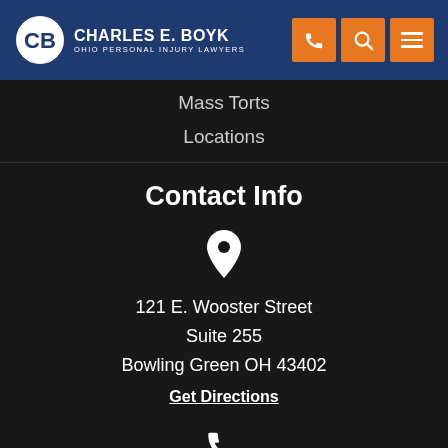Charles E. Boyk Law Offices - Ohio Personal Injury Lawyers
Mass Torts
Locations
Contact Info
121 E. Wooster Street
Suite 255
Bowling Green OH 43402
Get Directions
(877) 235-0670